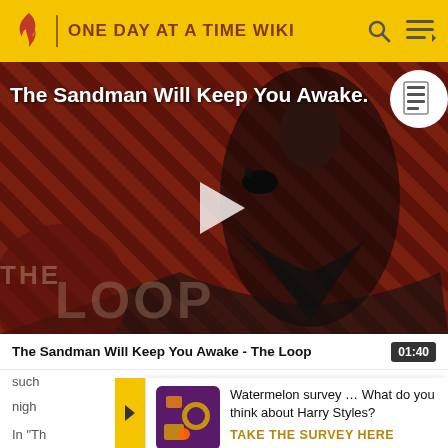ONE DAY AT A TIME WIKI
[Figure (screenshot): Video thumbnail showing The Sandman character in dark costume against a striped dark red background, with THE LOOP watermark text overlaid. A play button triangle is visible in the center. The video title 'The Sandman Will Keep You Awake.' appears at the top left.]
The Sandman Will Keep You Awake - The Loop
such
nigh
Watermelon survey … What do you think about Harry Styles?
TAKE THE SURVEY HERE
In "Th
ope
01:40